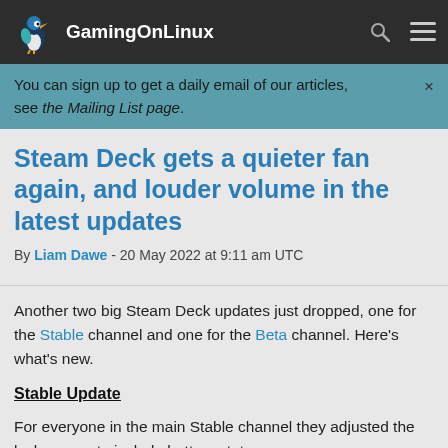GamingOnLinux
You can sign up to get a daily email of our articles, see the Mailing List page.
Steam Deck gets a quieter fan again, and louder volume in the latest updates
By Liam Dawe - 20 May 2022 at 9:11 am UTC
Another two big Steam Deck updates just dropped, one for the Stable channel and one for the Beta channel. Here's what's new.
Stable Update
For everyone in the main Stable channel they adjusted the lock screen to include battery status,